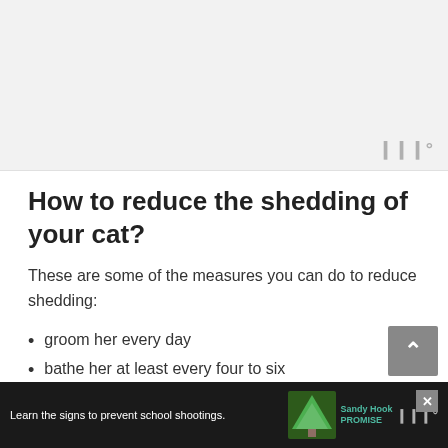[Figure (photo): Gray image placeholder area with a watermark logo in the bottom right corner]
How to reduce the shedding of your cat?
These are some of the measures you can do to reduce shedding:
groom her every day
bathe her at least every four to six
[Figure (screenshot): Advertisement bar at the bottom: 'Learn the signs to prevent school shootings.' with Sandy Hook Promise logo and close button]